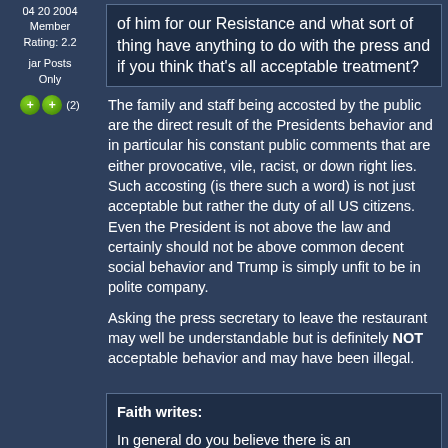04 20 2004
Member
Rating: 2.2
jar Posts Only
(2)
of him for our Resistance and what sort of thing have anything to do with the press and if you think that's all acceptable treatment?
The family and staff being accosted by the public are the direct result of the Presidents behavior and in particular his constant public comments that are either provocative, vile, racist, or down right lies. Such accosting (is there such a word) is not just acceptable but rather the duty of all US citizens. Even the President is not above the law and certainly should not be above common decent social behavior and Trump is simply unfit to be in polite company.
Asking the press secretary to leave the restaurant may well be understandable but is definitely NOT acceptable behavior and may have been illegal.
Faith writes:

In general do you believe there is an